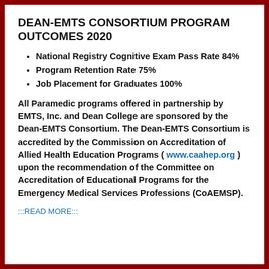DEAN-EMTS CONSORTIUM PROGRAM OUTCOMES 2020
National Registry Cognitive Exam Pass Rate 84%
Program Retention Rate 75%
Job Placement for Graduates 100%
All Paramedic programs offered in partnership by EMTS, Inc. and Dean College are sponsored by the Dean-EMTS Consortium. The Dean-EMTS Consortium is accredited by the Commission on Accreditation of Allied Health Education Programs ( www.caahep.org ) upon the recommendation of the Committee on Accreditation of Educational Programs for the Emergency Medical Services Professions (CoAEMSP).
:::READ MORE:::